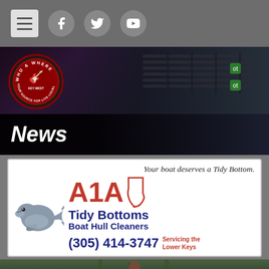Navigation bar with hamburger menu, Facebook, Twitter, YouTube icons
[Figure (logo): Who & Where Key West logo - circular red badge with guitar, text 'WHO & WHERE' and 'YOUR SOURCE FOR LIVE LOCAL MUSIC' over a music/guitar banner image]
News
[Figure (illustration): A1A Tidy Bottoms Boat Hull Cleaners advertisement. Tagline: 'Your boat deserves a Tidy Bottom.' Shows a manatee illustration, A1A logo in red with Florida state outline, company name 'Tidy Bottoms Boat Hull Cleaners' in navy blue, phone number (305) 414-3747, and 'Servicing the Lower Keys' in red.]
[Figure (photo): Partial photo at bottom showing a person outdoors among trees]